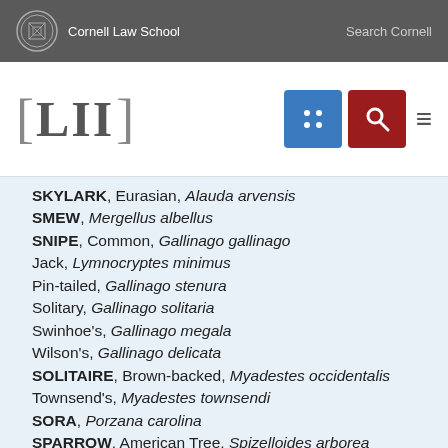Cornell Law School | Search Cornell
[Figure (logo): LII Legal Information Institute logo with Cornell Law School branding]
SKYLARK, Eurasian, Alauda arvensis
SMEW, Mergellus albellus
SNIPE, Common, Gallinago gallinago
Jack, Lymnocryptes minimus
Pin-tailed, Gallinago stenura
Solitary, Gallinago solitaria
Swinhoe's, Gallinago megala
Wilson's, Gallinago delicata
SOLITAIRE, Brown-backed, Myadestes occidentalis
Townsend's, Myadestes townsendi
SORA, Porzana carolina
SPARROW, American Tree, Spizelloides arborea
Bachman's, Peucaea aestivalis
Baird's, Centronyx bairdii